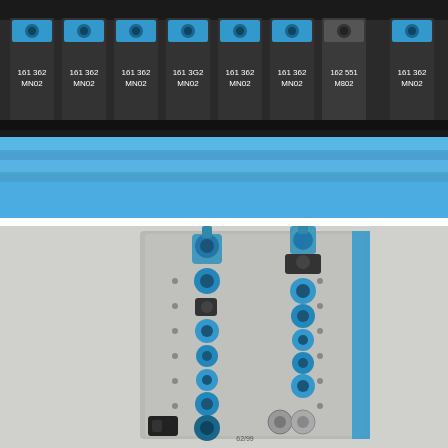[Figure (photo): Top-down view of a row of eight electronic relay or circuit components with blue plastic tops mounted in a dark housing. Each component is labeled with part numbers: seven show '161 362 MN02' and one shows '162 551 M802'. Below the components is a blue flat gasket or seal strip.]
[Figure (photo): Top-down view of a metal plate or manifold block with two columns of blue plastic pneumatic push-in fittings of various sizes arranged vertically. Some fittings have tubing stubs. The plate has small drilled holes and a blue tape strip along the right edge. A black fitting or connector is visible at the bottom left.]